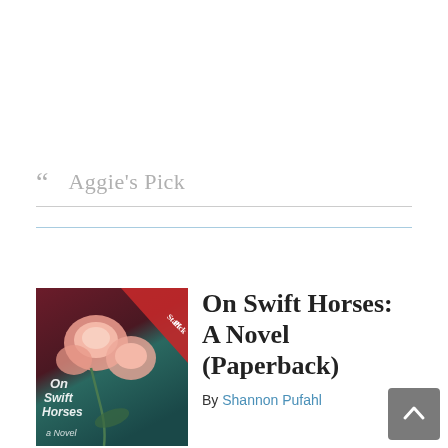Aggie's Pick
[Figure (illustration): Book cover of 'On Swift Horses: A Novel' with pink roses on dark red/teal background and a red Staff Pick banner in the upper right corner]
On Swift Horses: A Novel (Paperback)
By Shannon Pufahl